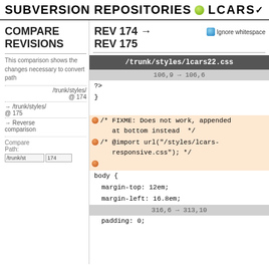SUBVERSION REPOSITORIES • LCARS
COMPARE REVISIONS REV 174 → REV 175
This comparison shows the changes necessary to convert path /trunk/styles/ @ 174 → /trunk/styles/ @ 175 → Reverse comparison
[Figure (screenshot): Code diff view showing /trunk/styles/lcars22.css, lines 106,9→106,6 and 316,6→313,10, with removed lines highlighted in orange: /* FIXME: Does not work, appended at bottom instead */, /* @import url("/styles/lcars-responsive.css"); */, and an empty removed line; context lines: ?>, }, body {, margin-top: 12em;, margin-left: 16.8em;, padding: 0;]
Compare Path: